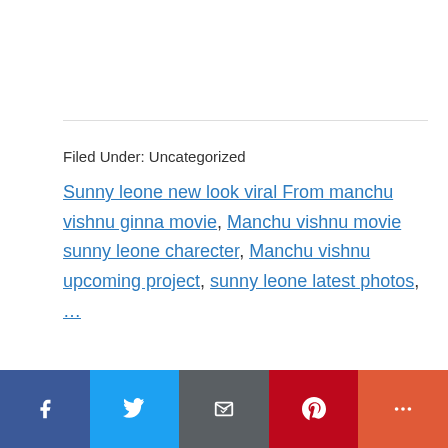Filed Under: Uncategorized
Sunny leone new look viral From manchu vishnu ginna movie, Manchu vishnu movie sunny leone charecter, Manchu vishnu upcoming project, sunny leone latest photos, …
[Social sharing bar: Facebook, Twitter, Email, Pinterest, More]